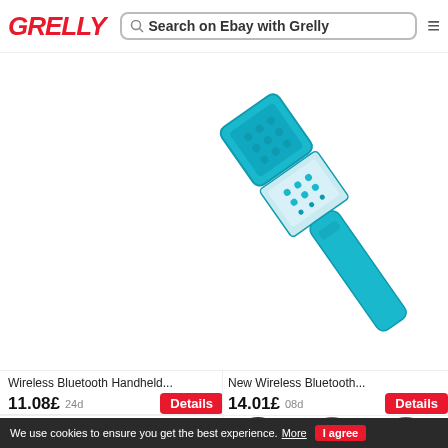GRELLY | Search on Ebay with Grelly
[Figure (photo): Blue wireless Bluetooth karaoke microphone, diagonal view, teal/cyan color]
Wireless Bluetooth Handheld...
11.08£ 24d
Details
New Wireless Bluetooth...
14.01£ 08d
Details
[Figure (photo): Five wireless Bluetooth karaoke microphones in gold, blue, red, grey, and black colors]
[Figure (photo): Three wireless Bluetooth karaoke microphones in pink/purple, blue, and grey/silver colors]
We use cookies to ensure you get the best experience. More | I agree